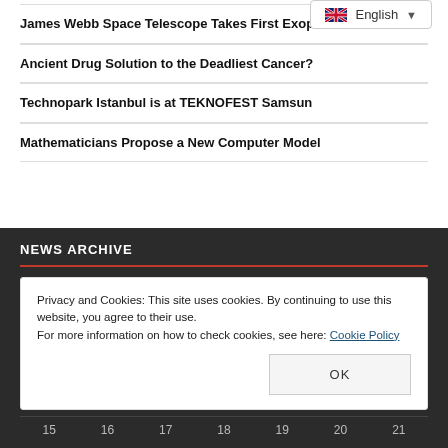James Webb Space Telescope Takes First Exoplanet Picture
Ancient Drug Solution to the Deadliest Cancer?
Technopark Istanbul is at TEKNOFEST Samsun
Mathematicians Propose a New Computer Model
NEWS ARCHIVE
Privacy and Cookies: This site uses cookies. By continuing to use this website, you agree to their use.
For more information on how to check cookies, see here: Cookie Policy
OK